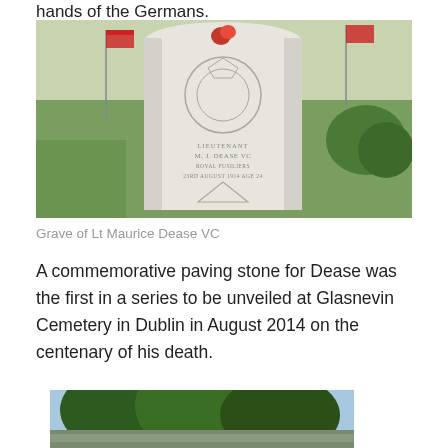hands of the Germans.
[Figure (photo): Photograph of a white Commonwealth War Graves Commission headstone for Lieutenant M. J. Dease VC, Royal Fusiliers, 23rd August 1914, with a red poppy on top and flags in the background, set in green grass.]
Grave of Lt Maurice Dease VC
A commemorative paving stone for Dease was the first in a series to be unveiled at Glasnevin Cemetery in Dublin in August 2014 on the centenary of his death.
[Figure (photo): Partial photograph showing trees and a street scene, cropped at bottom of page.]